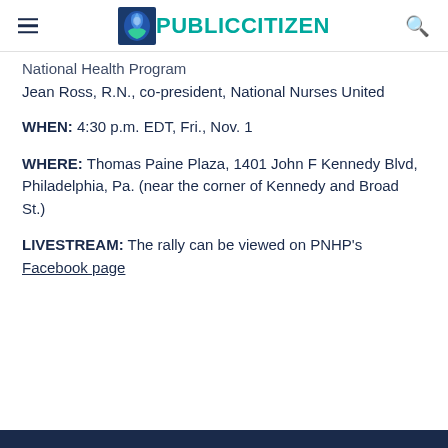PUBLIC CITIZEN
National Health Program
Jean Ross, R.N., co-president, National Nurses United
WHEN: 4:30 p.m. EDT, Fri., Nov. 1
WHERE: Thomas Paine Plaza, 1401 John F Kennedy Blvd, Philadelphia, Pa. (near the corner of Kennedy and Broad St.)
LIVESTREAM: The rally can be viewed on PNHP's Facebook page